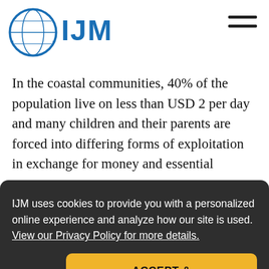[Figure (logo): IJM (International Justice Mission) logo with globe icon and blue IJM text, and hamburger menu icon in top right]
In the coastal communities, 40% of the population live on less than USD 2 per day and many children and their parents are forced into differing forms of exploitation in exchange for money and essential
IJM uses cookies to provide you with a personalized online experience and analyze how our site is used.  View our Privacy Policy for more details.
Decline
ACCEPT & CONTINUE